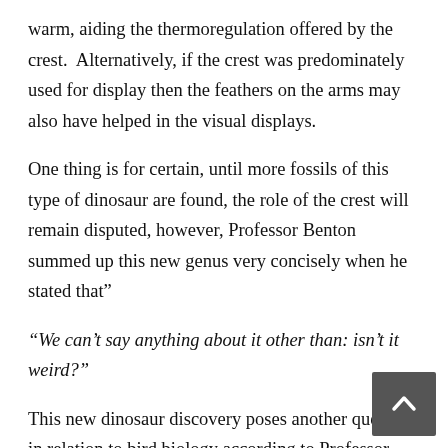warm, aiding the thermoregulation offered by the crest.  Alternatively, if the crest was predominately used for display then the feathers on the arms may also have helped in the visual displays.
One thing is for certain, until more fossils of this type of dinosaur are found, the role of the crest will remain disputed, however, Professor Benton summed up this new genus very concisely when he stated that"
“We can’t say anything about it other than: isn’t it weird?"
This new dinosaur discovery poses another question in relation to bird biology according to Professor Benton.
“What is the range of feather-like structures among